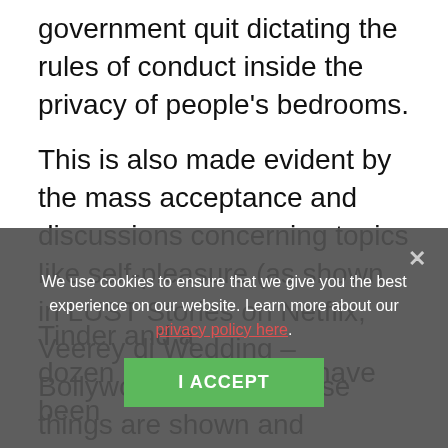government quit dictating the rules of conduct inside the privacy of people's bedrooms.
This is also made evident by the mass acceptance and discussions concerning topics like self-pleasure (as shown in LUST Stories on Netflix, Veerey di Wedding – Bollywood Movie). These things are shown and discussed in open by women of all ages and social spheres. There are more and more women coming out to speak about their bodies, their freedom, their choices in life – not just the necessities, but the choice of who they want to date, who they want to marry,
Tinder and a dozen other apps have been
We use cookies to ensure that we give you the best experience on our website. Learn more about our privacy policy here.